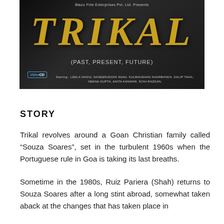[Figure (photo): Movie poster for 'Trikal (Past, Present, Future)' by Blazo Film Enterprises Pvt. Ltd. Dark background with large gold italic title text. Starring: Leela Naidu, Naseeruddin Shah, Kulbhushan Kharbanda, Dalip Tahil, Neena Gupta, Anita Kanwar, Soni Razdan. Video CD label visible.]
STORY
Trikal revolves around a Goan Christian family called “Souza Soares”, set in the turbulent 1960s when the Portuguese rule in Goa is taking its last breaths.
Sometime in the 1980s, Ruiz Pariera (Shah) returns to Souza Soares after a long stint abroad, somewhat taken aback at the changes that has taken place in